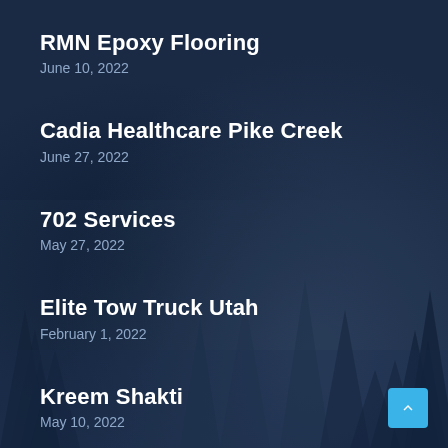RMN Epoxy Flooring
June 10, 2022
Cadia Healthcare Pike Creek
June 27, 2022
702 Services
May 27, 2022
Elite Tow Truck Utah
February 1, 2022
Kreem Shakti
May 10, 2022